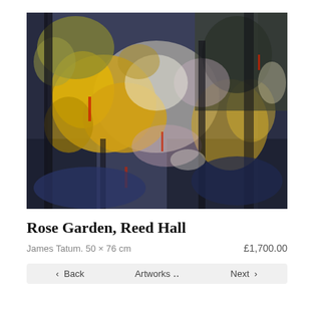[Figure (illustration): Abstract oil painting titled 'Rose Garden, Reed Hall' by James Tatum. Features bold brushwork with yellows, golds, dark blues, blacks, and pinks suggesting a garden landscape with trees and foliage.]
Rose Garden, Reed Hall
James Tatum. 50 × 76 cm
£1,700.00
‹  Back
Artworks ‥
Next  ›